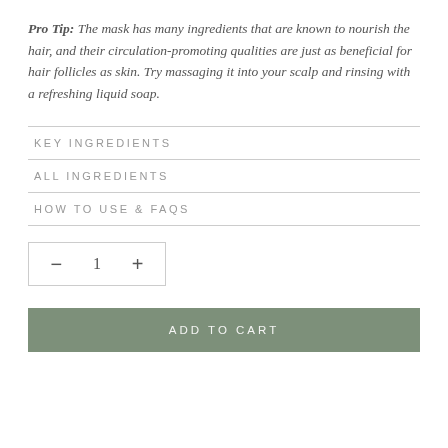Pro Tip:  The mask has many ingredients that are known to nourish the hair, and their circulation-promoting qualities are just as beneficial for hair follicles as skin. Try massaging it into your scalp and rinsing with a refreshing liquid soap.
KEY INGREDIENTS
ALL INGREDIENTS
HOW TO USE & FAQS
− 1 +
ADD TO CART